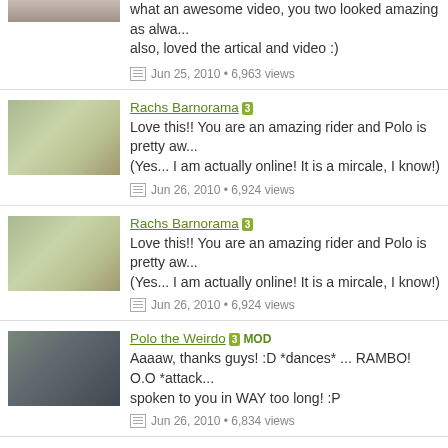what an awesome video, you two looked amazing as always, also, loved the artical and video :)
Jun 25, 2010 • 6,963 views
Rachs Barnorama
Love this!! You are an amazing rider and Polo is pretty aw... (Yes... I am actually online! It is a mircale, I know!)
Jun 26, 2010 • 6,924 views
Rachs Barnorama
Love this!! You are an amazing rider and Polo is pretty aw... (Yes... I am actually online! It is a mircale, I know!)
Jun 26, 2010 • 6,924 views
Polo the Weirdo MOD
Aaaaw, thanks guys! :D *dances* ... RAMBO! O.O *attack... spoken to you in WAY too long! :P
Jun 26, 2010 • 6,834 views